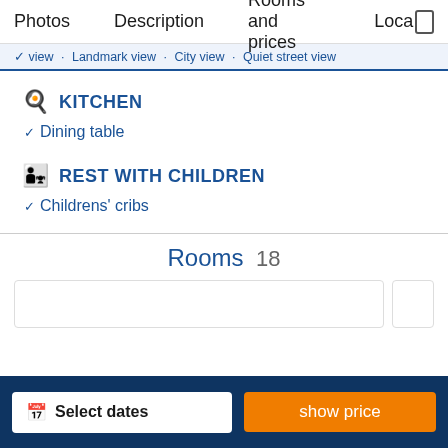Photos  Description  Rooms and prices  Loca
view · Landmark view · City view · Quiet street view
KITCHEN
Dining table
REST WITH CHILDREN
Childrens' cribs
Rooms  18
Select dates
show price